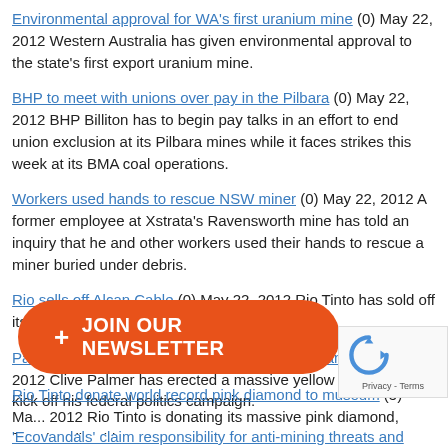Environmental approval for WA's first uranium mine (0) May 22, 2012 Western Australia has given environmental approval to the state's first export uranium mine.
BHP to meet with unions over pay in the Pilbara (0) May 22, 2012 BHP Billiton has to begin pay talks in an effort to end union exclusion at its Pilbara mines while it faces strikes this week at its BMA coal operations.
Workers used hands to rescue NSW miner (0) May 22, 2012 A former employee at Xstrata's Ravensworth mine has told an inquiry that he and other workers used their hands to rescue a miner buried under debris.
Rio sells off Alcan Cable (0) May 22, 2012 Rio Tinto has sold off its Alcan Cable business.
Palmer erects billboard to challenge Wayne Swan (0) May 21, 2012 Clive Palmer has erected a massive yellow billboard to kick off his federal politics campaign.
'Ecovandals' claim responsibility for anti-mining threats and graffiti (0) May 21, 2012 A group of self-proclaimed 'ecovandals' have claimed responsibility for vandalising a Wollongong home with anti-mining graffiti.
Probe starts over NSW coal death (0) May 21, 2012 An inquest into ... orth mine in 2009 w...
Rio Tinto donate world record pink diamond to museum (5) Ma... 2012 Rio Tinto is donating its massive pink diamond, found earlier this